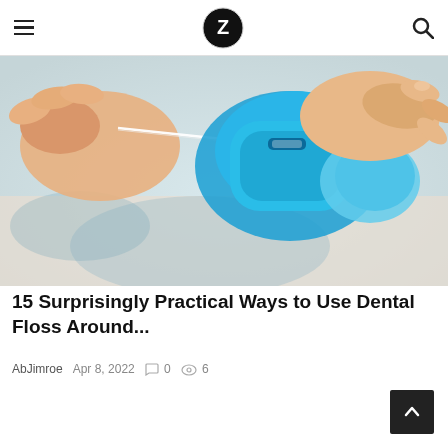Z logo, hamburger menu, search icon
[Figure (photo): Close-up photo of hands holding a blue dental floss container and pulling out a strand of dental floss against a light blurred background.]
15 Surprisingly Practical Ways to Use Dental Floss Around...
AbJimroe  Apr 8, 2022  0  6